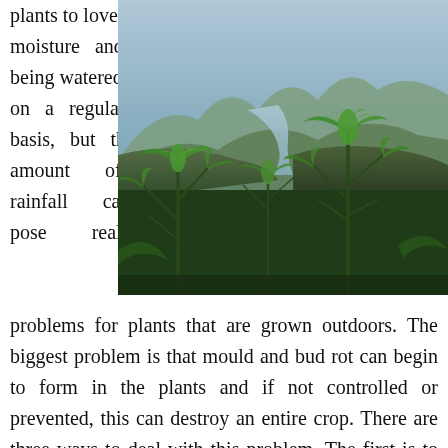plants to love moisture and being watered on a regular basis, but this amount of rainfall can pose real problems for plants that are grown outdoors. The biggest problem is that mould and bud rot can begin to form in the plants and if not controlled or prevented, this can destroy an entire crop. There are three ways to deal with this problem. The first is to provide some type of covering for the plants, and preferably it will be one that can be removed when the sun is out, such as a retractable awning or portable tarp. This will protect the plants from much of the moisture, although they will still be
[Figure (photo): Outdoor cannabis plants growing in a mountainous landscape with a river valley visible in the background]